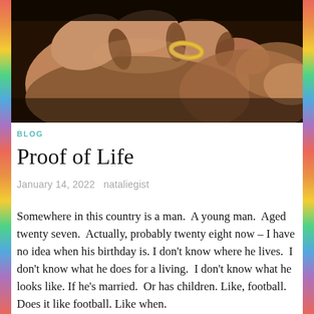[Figure (photo): Close-up photograph of two hands touching, one wearing a gold wedding ring, with a dark background]
BLOG
Proof of Life
January 14, 2022   nataliegist
Somewhere in this country is a man.  A young man.  Aged twenty seven.  Actually, probably twenty eight now – I have no idea when his birthday is. I don't know where he lives.  I don't know what he does for a living.  I don't know what he looks like. If he's married.  Or has children. Like, football. Does it like football. Like when.